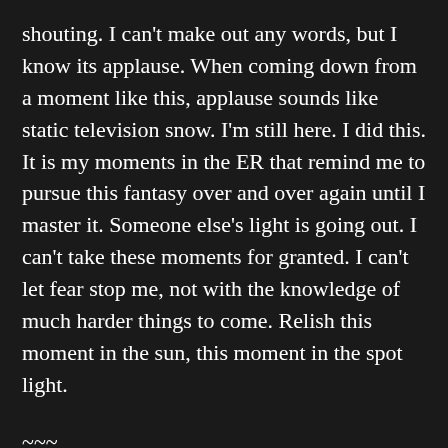shouting. I can't make out any words, but I know its applause. When coming down from a moment like this, applause sounds like static television snow. I'm still here. I did this. It is my moments in the ER that remind me to pursue this fantasy over and over again until I master it. Someone else's light is going out. I can't take these moments for granted. I can't let fear stop me, not with the knowledge of much harder things to come. Relish this moment in the sun, this moment in the spot light.
~~~
About Victor: Victor enjoys long walks on the beach. His favorite food is fish tacos. Capricorn. Please swipe right or you'll hurt his feelings. Victor Cline is one of those people who quickly burns through his interests, diving